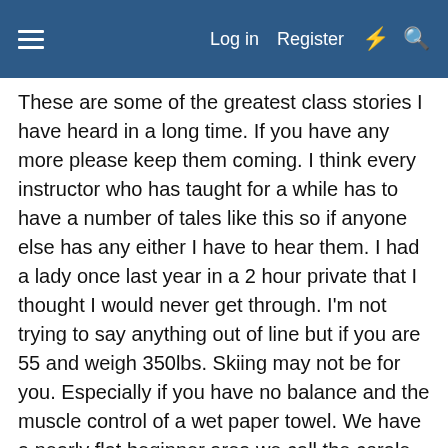≡  Log in  Register  ⚡  🔍
These are some of the greatest class stories I have heard in a long time. If you have any more please keep them coming. I think every instructor who has taught for a while has to have a number of tales like this so if anyone else has any either I have to hear them. I had a lady once last year in a 2 hour private that I thought I would never get through. I'm not trying to say anything out of line but if you are 55 and weigh 350lbs. Skiing may not be for you. Especially if you have no balance and the muscle control of a wet paper towel. We have a nearly flat beginner area we call the corale with a small magic carpet on it. (conveyor belt in the snow so no lift needed) In 2 hours I never got her out of there or making a turn. the major problem was the fact taht I was incapable of picking her up when she fell... I'm no little guy. 6'1" and 205 but I tell you what. Getting 350 pounds of dead weight off the snow with no pitch to help and no assistance from the student is not a cool thing. This area is right next to our main lodge so there were 8-10 instructors in the window watching me struggle. When it was finally over and i got back inside and...